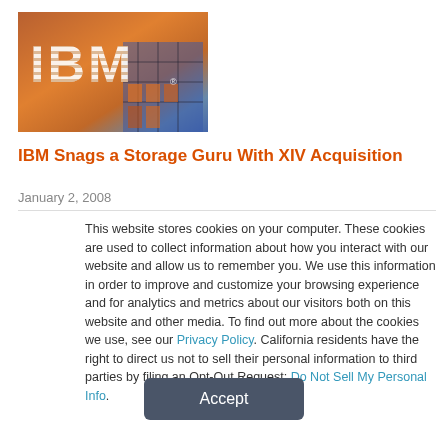[Figure (logo): IBM logo on a building facade with warm orange and blue tones]
IBM Snags a Storage Guru With XIV Acquisition
January 2, 2008
This website stores cookies on your computer. These cookies are used to collect information about how you interact with our website and allow us to remember you. We use this information in order to improve and customize your browsing experience and for analytics and metrics about our visitors both on this website and other media. To find out more about the cookies we use, see our Privacy Policy. California residents have the right to direct us not to sell their personal information to third parties by filing an Opt-Out Request: Do Not Sell My Personal Info.
Accept